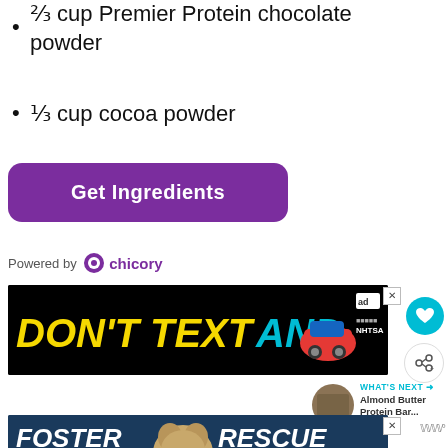⅔ cup Premier Protein chocolate powder
⅓ cup cocoa powder
Get Ingredients
Powered by chicory
[Figure (screenshot): Advertisement banner: DON'T TEXT AND (with red car emoji) NHTSA ad on black background]
[Figure (screenshot): FOSTER ADOPT / RESCUE ADVOCATE advertisement with dog photo on dark blue background]